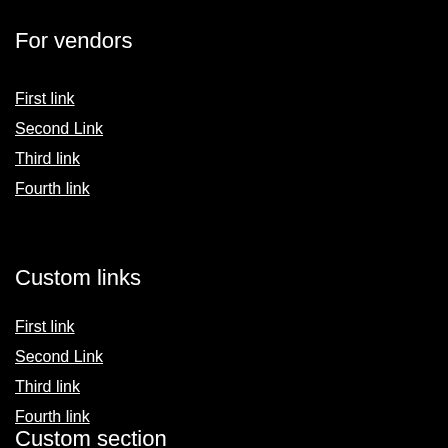For vendors
First link
Second Link
Third link
Fourth link
Custom links
First link
Second Link
Third link
Fourth link
Custom section